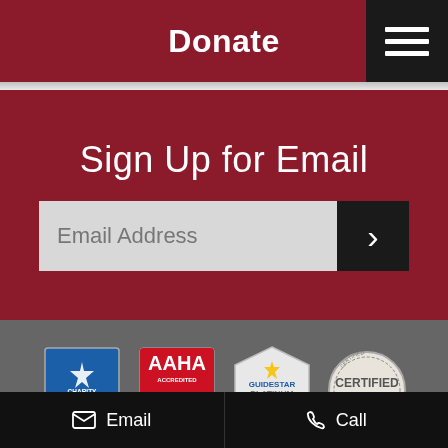Donate
Sign Up for Email
Email Address
[Figure (logo): Charity Navigator four star charity badge]
[Figure (logo): AAHA Accredited - The Standard of Veterinary Excellence badge]
[Figure (logo): GuideStar Platinum Participant badge]
[Figure (logo): Certified badge]
[Figure (logo): Humane Society logo with heart and paw print]
Email    Call